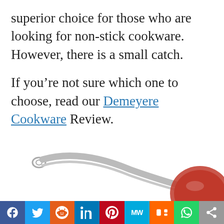superior choice for those who are looking for non-stick cookware. However, there is a small catch.

If you're not sure which one to choose, read our Demeyere Cookware Review.
[Figure (photo): Bottom portion of a stainless steel pan with handle visible, partially cropped]
Social share bar: Facebook, Twitter, Reddit, LinkedIn, Pinterest, MW, Mix, WhatsApp, Share